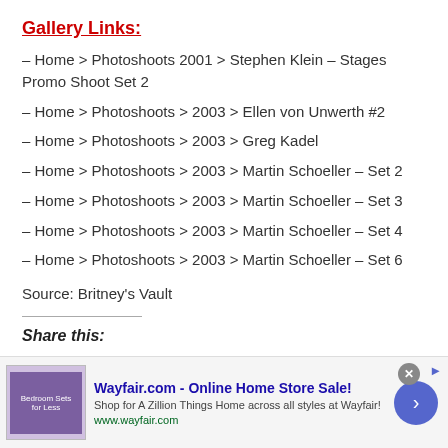Gallery Links:
– Home > Photoshoots 2001 > Stephen Klein – Stages Promo Shoot Set 2
– Home > Photoshoots > 2003 > Ellen von Unwerth #2
– Home > Photoshoots > 2003 > Greg Kadel
– Home > Photoshoots > 2003 > Martin Schoeller – Set 2
– Home > Photoshoots > 2003 > Martin Schoeller – Set 3
– Home > Photoshoots > 2003 > Martin Schoeller – Set 4
– Home > Photoshoots > 2003 > Martin Schoeller – Set 6
Source: Britney's Vault
Share this:
[Figure (other): Wayfair.com advertisement banner: Online Home Store Sale! Shop for A Zillion Things Home across all styles at Wayfair! www.wayfair.com]